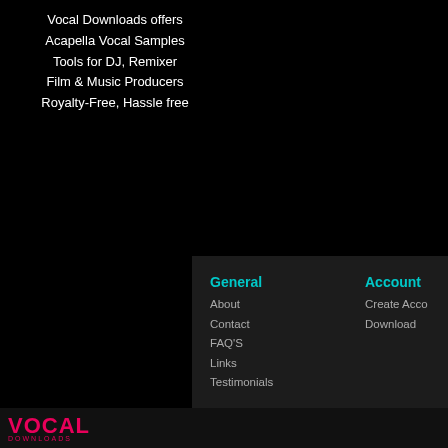Vocal Downloads offers
Acapella Vocal Samples
Tools for DJ, Remixer
Film & Music Producers
Royalty-Free, Hassle free
General
About
Contact
FAQ'S
Links
Testimonials
Account
Create Account (truncated)
Download (truncated)
Legal
License Terms
Privacy Policy
Terms & Conditions
Get the v...
VOCAL DOWNLOADS